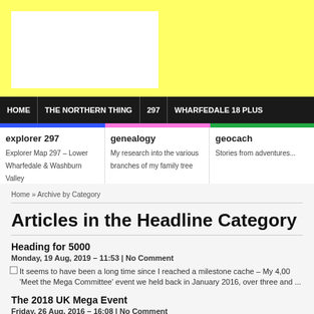[Figure (logo): White rectangle logo placeholder on yellow background]
HOME | THE NORTHERN THING | 297 | WHARFEDALE 18 PLUS
explorer 297
Explorer Map 297 – Lower Wharfedale & Washburn Valley
genealogy
My research into the various branches of my family tree
geocach...
Stories from adventures...
Home » Archive by Category
Articles in the Headline Category
Heading for 5000
Monday, 19 Aug, 2019 – 11:53 | No Comment
It seems to have been a long time since I reached a milestone cache – My 4,000 'Meet the Mega Committee' event we held back in January 2016, over three and ...
The 2018 UK Mega Event
Friday, 26 Aug, 2016 – 16:08 | No Comment